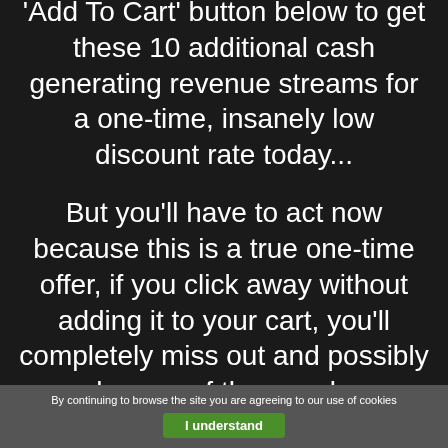'Add To Cart' button below to get these 10 additional cash generating revenue streams for a one-time, insanely low discount rate today...
But you'll have to act now because this is a true one-time offer, if you click away without adding it to your cart, you'll completely miss out and possibly be one of the people
By continuing to browse the site you are agreeing to our use of cookies
I understand